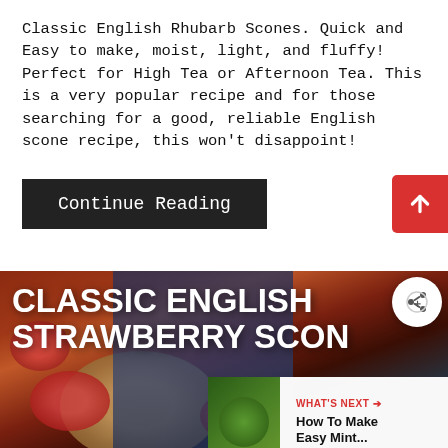Classic English Rhubarb Scones. Quick and Easy to make, moist, light, and fluffy! Perfect for High Tea or Afternoon Tea. This is a very popular recipe and for those searching for a good, reliable English scone recipe, this won't disappoint!
Continue Reading
[Figure (photo): Food photo showing Classic English Strawberry Scones with text overlay. Shows scones and strawberries on a wooden board with a blue floral fabric background. A 'WHAT'S NEXT' panel shows 'How To Make Easy Mint...' A share button appears in the top right.]
SHE CAN STEM   Learn More